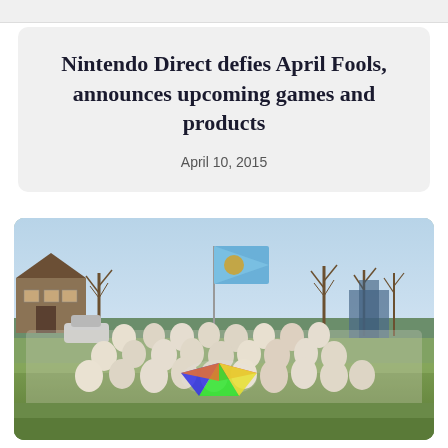Nintendo Direct defies April Fools, announces upcoming games and products
April 10, 2015
[Figure (photo): Large group of people in white t-shirts posing outdoors on a grassy field. Someone holds a light blue and yellow flag on a pole. Bare winter trees and a house visible in the background. A colorful parachute or blanket is visible in the center of the group.]